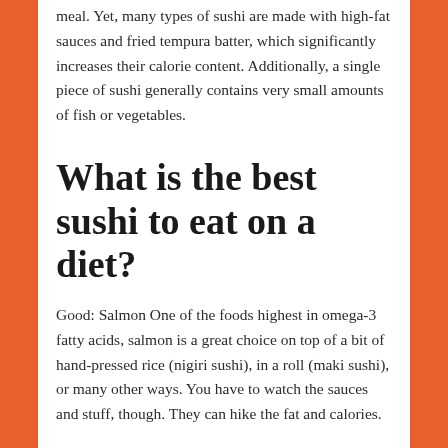meal. Yet, many types of sushi are made with high-fat sauces and fried tempura batter, which significantly increases their calorie content. Additionally, a single piece of sushi generally contains very small amounts of fish or vegetables.
What is the best sushi to eat on a diet?
Good: Salmon One of the foods highest in omega-3 fatty acids, salmon is a great choice on top of a bit of hand-pressed rice (nigiri sushi), in a roll (maki sushi), or many other ways. You have to watch the sauces and stuff, though. They can hike the fat and calories.
What sushi has the